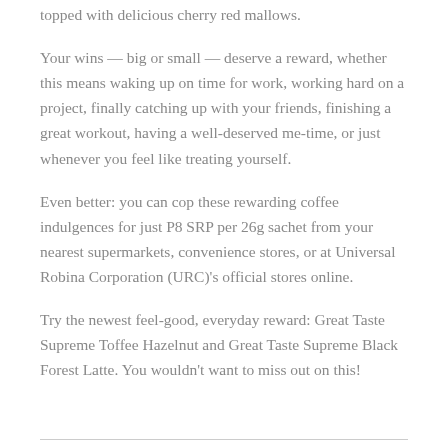topped with delicious cherry red mallows.
Your wins — big or small — deserve a reward, whether this means waking up on time for work, working hard on a project, finally catching up with your friends, finishing a great workout, having a well-deserved me-time, or just whenever you feel like treating yourself.
Even better: you can cop these rewarding coffee indulgences for just P8 SRP per 26g sachet from your nearest supermarkets, convenience stores, or at Universal Robina Corporation (URC)'s official stores online.
Try the newest feel-good, everyday reward: Great Taste Supreme Toffee Hazelnut and Great Taste Supreme Black Forest Latte. You wouldn't want to miss out on this!